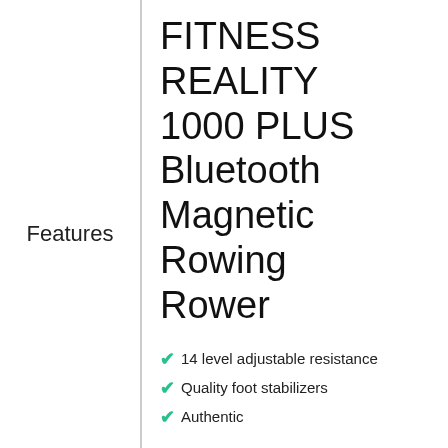Features
FITNESS REALITY 1000 PLUS Bluetooth Magnetic Rowing Rower
14 level adjustable resistance
Quality foot stabilizers
Authentic
Check Price ▶